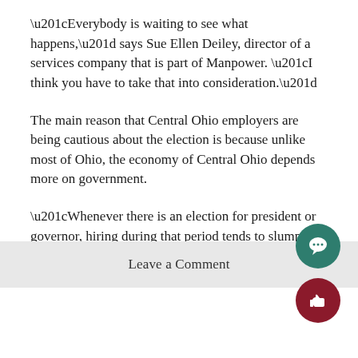“Everybody is waiting to see what happens,” says Sue Ellen Deiley, director of a services company that is part of Manpower. “I think you have to take that into consideration.”
The main reason that Central Ohio employers are being cautious about the election is because unlike most of Ohio, the economy of Central Ohio depends more on government.
“Whenever there is an election for president or governor, hiring during that period tends to slump in the region.” Deiley stated.
Leave a Comment